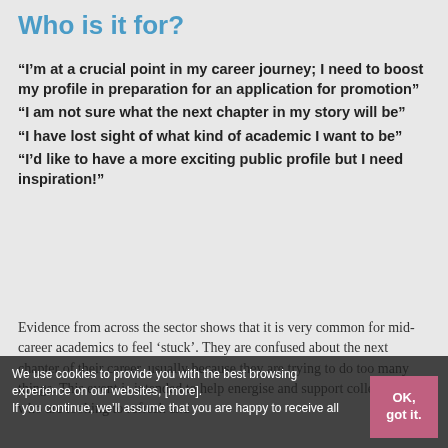Who is it for?
“I’m at a crucial point in my career journey; I need to boost my profile in preparation for an application for promotion”
“I am not sure what the next chapter in my story will be”
“I have lost sight of what kind of academic I want to be”
“I’d like to have a more exciting public profile but I need inspiration!”
Evidence from across the sector shows that it is very common for mid-career academics to feel ‘stuck’. They are confused about the next chapter of their career, usually because they are trying to do too many things. This event is intended to help energise and support colleagues who are looking to refresh and
We use cookies to provide you with the best browsing experience on our websites, [more]. If you continue, we’ll assume that you are happy to receive all